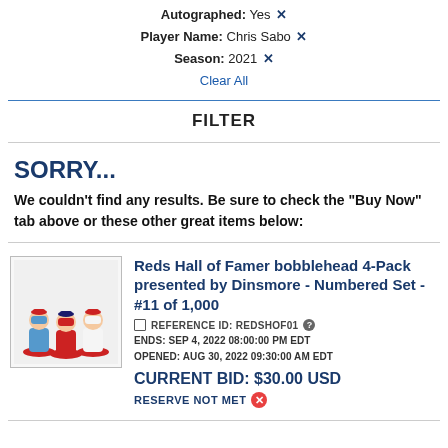Autographed: Yes ✕   Player Name: Chris Sabo ✕   Season: 2021 ✕   Clear All
FILTER
SORRY...
We couldn't find any results. Be sure to check the "Buy Now" tab above or these other great items below:
[Figure (photo): Photo of Reds Hall of Famer bobblehead 4-Pack showing three baseball player bobbleheads on red bases]
Reds Hall of Famer bobblehead 4-Pack presented by Dinsmore - Numbered Set - #11 of 1,000
REFERENCE ID: REDSHOF01
ENDS: SEP 4, 2022 08:00:00 PM EDT
OPENED: AUG 30, 2022 09:30:00 AM EDT
CURRENT BID: $30.00 USD
RESERVE NOT MET